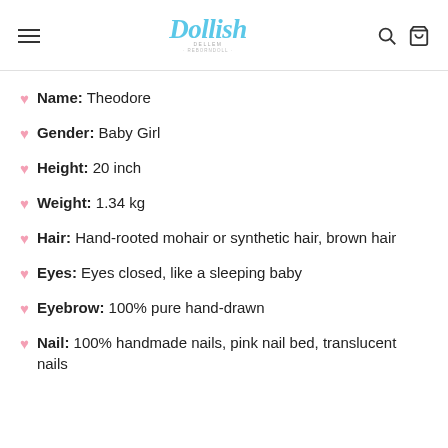Dollish — navigation header with logo, search and cart icons
Name: Theodore
Gender: Baby Girl
Height: 20 inch
Weight: 1.34 kg
Hair: Hand-rooted mohair or synthetic hair, brown hair
Eyes: Eyes closed, like a sleeping baby
Eyebrow: 100% pure hand-drawn
Nail: 100% handmade nails, pink nail bed, translucent nails